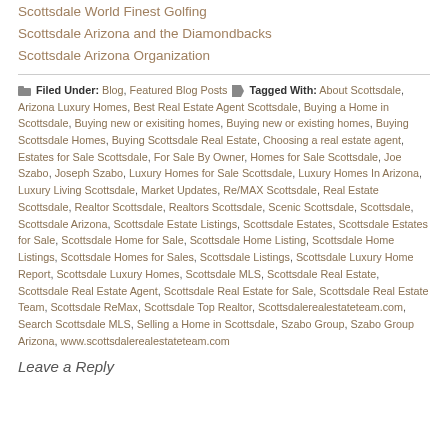Scottsdale World Finest Golfing
Scottsdale Arizona and the Diamondbacks
Scottsdale Arizona Organization
Filed Under: Blog, Featured Blog Posts  Tagged With: About Scottsdale, Arizona Luxury Homes, Best Real Estate Agent Scottsdale, Buying a Home in Scottsdale, Buying new or exisiting homes, Buying new or existing homes, Buying Scottsdale Homes, Buying Scottsdale Real Estate, Choosing a real estate agent, Estates for Sale Scottsdale, For Sale By Owner, Homes for Sale Scottsdale, Joe Szabo, Joseph Szabo, Luxury Homes for Sale Scottsdale, Luxury Homes In Arizona, Luxury Living Scottsdale, Market Updates, Re/MAX Scottsdale, Real Estate Scottsdale, Realtor Scottsdale, Realtors Scottsdale, Scenic Scottsdale, Scottsdale, Scottsdale Arizona, Scottsdale Estate Listings, Scottsdale Estates, Scottsdale Estates for Sale, Scottsdale Home for Sale, Scottsdale Home Listing, Scottsdale Home Listings, Scottsdale Homes for Sales, Scottsdale Listings, Scottsdale Luxury Home Report, Scottsdale Luxury Homes, Scottsdale MLS, Scottsdale Real Estate, Scottsdale Real Estate Agent, Scottsdale Real Estate for Sale, Scottsdale Real Estate Team, Scottsdale ReMax, Scottsdale Top Realtor, Scottsdalerealestateteam.com, Search Scottsdale MLS, Selling a Home in Scottsdale, Szabo Group, Szabo Group Arizona, www.scottsdalerealestateteam.com
Leave a Reply